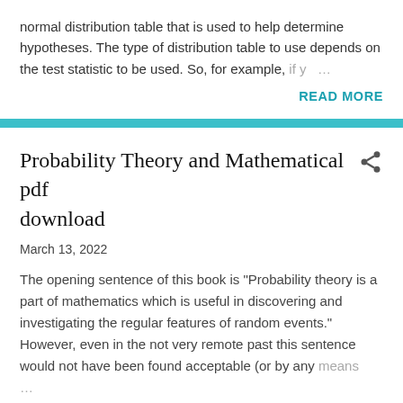normal distribution table that is used to help determine hypotheses. The type of distribution table to use depends on the test statistic to be used. So, for example, if y…
READ MORE
Probability Theory and Mathematical pdf download
March 13, 2022
The opening sentence of this book is "Probability theory is a part of mathematics which is useful in discovering and investigating the regular features of random events." However, even in the not very remote past this sentence would not have been found acceptable (or by any means…